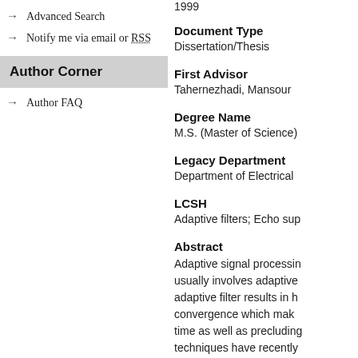→ Advanced Search
→ Notify me via email or RSS
Author Corner
→ Author FAQ
1999
Document Type
Dissertation/Thesis
First Advisor
Tahernezhadi, Mansour
Degree Name
M.S. (Master of Science)
Legacy Department
Department of Electrical
LCSH
Adaptive filters; Echo sup
Abstract
Adaptive signal processin usually involves adaptive adaptive filter results in h convergence which mak time as well as precluding techniques have recently these problems. Howeve techniques insert signal p